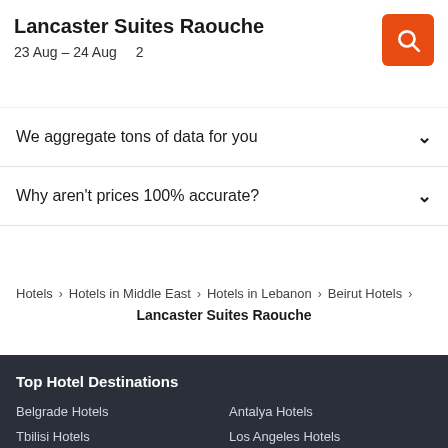Lancaster Suites Raouche
23 Aug – 24 Aug  2
We aggregate tons of data for you
Why aren't prices 100% accurate?
Hotels > Hotels in Middle East > Hotels in Lebanon > Beirut Hotels > Lancaster Suites Raouche
Top Hotel Destinations
Belgrade Hotels
Antalya Hotels
Tbilisi Hotels
Los Angeles Hotels
Dubai Hotels
Jerusalem Hotels